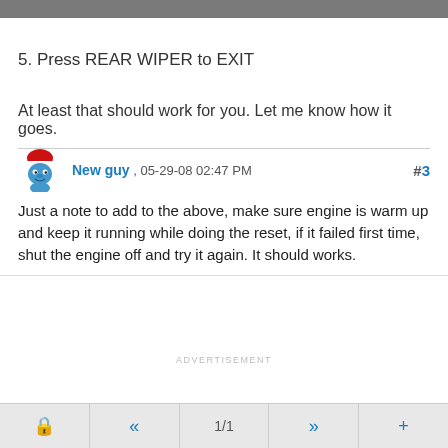5. Press REAR WIPER to EXIT
At least that should work for you. Let me know how it goes.
New guy , 05-29-08 02:47 PM #3
Just a note to add to the above, make sure engine is warm up and keep it running while doing the reset, if it failed first time, shut the engine off and try it again. It should works.
ADVERTISEMENT
ADVERTISEMENT
🔒  «  1/1  »  +